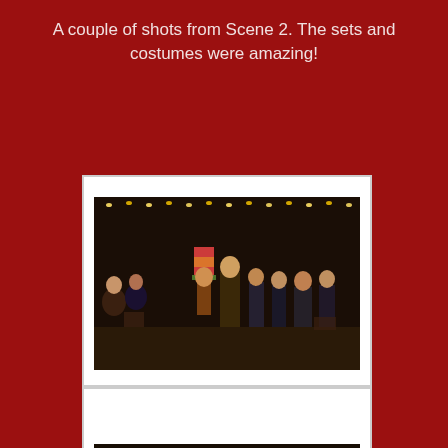A couple of shots from Scene 2. The sets and costumes were amazing!
[Figure (photo): Theatre stage scene with performers in period costumes, one holding a stack of gifts/boxes, fairy lights in background, crowded stage scene]
[Figure (photo): Theatre stage scene with a blonde woman in a black sequined dress seated, with other performers in costumes around her in a cabaret-style setting]